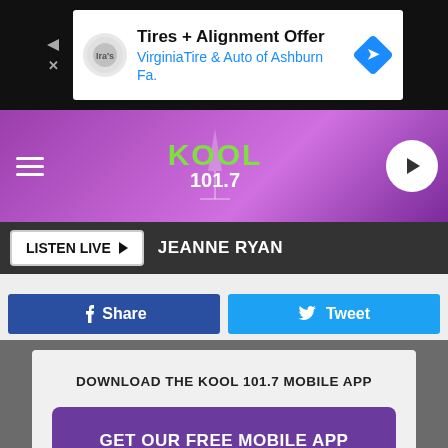[Figure (screenshot): Advertisement banner: Tires + Alignment Offer - VirginiaTire & Auto of Ashburn Fa.]
[Figure (logo): KOOL 101.7 radio station header with purple gradient background, hamburger menu, station logo, and play button]
LISTEN LIVE ▶  JEANNE RYAN
f Share
Tweet
DOWNLOAD THE KOOL 101.7 MOBILE APP
GET OUR FREE MOBILE APP
Also listen on:  amazon alexa